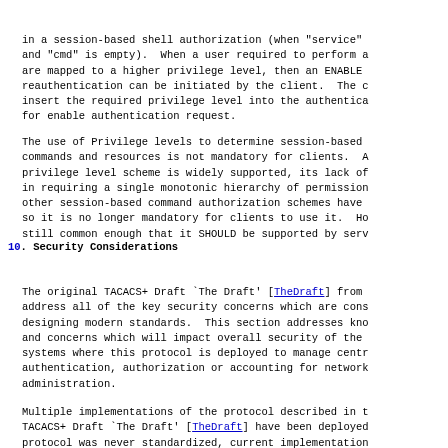in a session-based shell authorization (when "service" and "cmd" is empty).  When a user required to perform a are mapped to a higher privilege level, then an ENABLE reauthentication can be initiated by the client.  The c insert the required privilege level into the authentica for enable authentication request.
The use of Privilege levels to determine session-based commands and resources is not mandatory for clients.  A privilege level scheme is widely supported, its lack of in requiring a single monotonic hierarchy of permission other session-based command authorization schemes have so it is no longer mandatory for clients to use it.  Ho still common enough that it SHOULD be supported by serv
10.  Security Considerations
The original TACACS+ Draft `The Draft' [TheDraft] from address all of the key security concerns which are cons designing modern standards.  This section addresses kno and concerns which will impact overall security of the systems where this protocol is deployed to manage centr authentication, authorization or accounting for network administration.
Multiple implementations of the protocol described in t TACACS+ Draft `The Draft' [TheDraft] have been deployed protocol was never standardized, current implementation